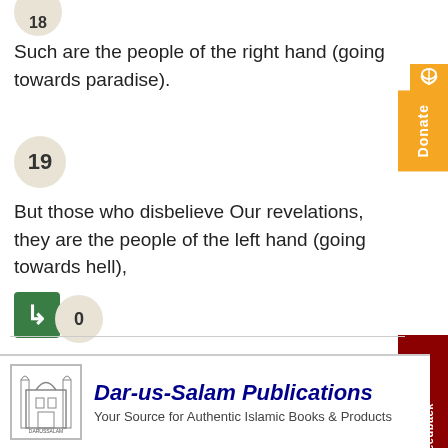Such are the people of the right hand (going towards paradise).
19
But those who disbelieve Our revelations, they are the people of the left hand (going towards hell),
0
having fire all around them.
[Figure (logo): Dar-us-Salam Publications logo with building icon]
Dar-us-Salam Publications
Your Source for Authentic Islamic Books & Products